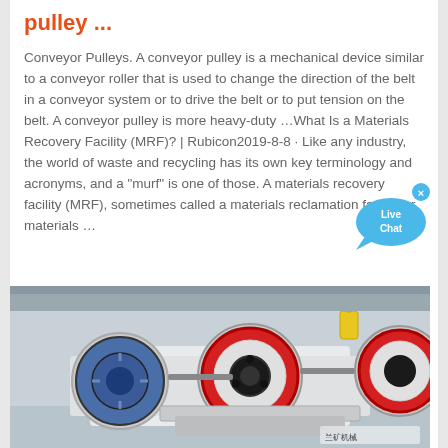pulley ...
Conveyor Pulleys. A conveyor pulley is a mechanical device similar to a conveyor roller that is used to change the direction of the belt in a conveyor system or to drive the belt or to put tension on the belt. A conveyor pulley is more heavy-duty …What Is a Materials Recovery Facility (MRF)? | Rubicon2019-8-8 · Like any industry, the world of waste and recycling has its own key terminology and acronyms, and a "murf" is one of those. A materials recovery facility (MRF), sometimes called a materials reclamation facility or materials …
[Figure (photo): Industrial conveyor pulleys with red circular rims, black centers, and blue motor components mounted on a white frame structure in a factory setting.]